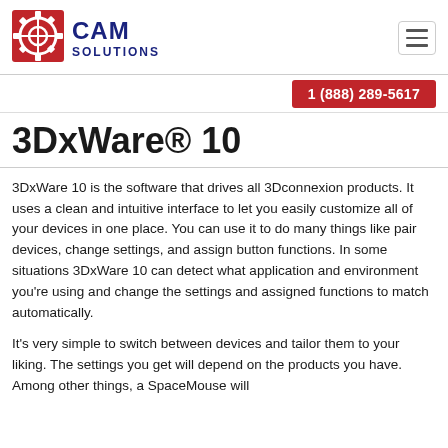[Figure (logo): CAM Solutions logo — gear/crosshair icon in red/dark blue square, text 'CAM SOLUTIONS' in dark navy blue]
1 (888) 289-5617
3DxWare® 10
3DxWare 10 is the software that drives all 3Dconnexion products. It uses a clean and intuitive interface to let you easily customize all of your devices in one place. You can use it to do many things like pair devices, change settings, and assign button functions. In some situations 3DxWare 10 can detect what application and environment you're using and change the settings and assigned functions to match automatically.
It's very simple to switch between devices and tailor them to your liking. The settings you get will depend on the products you have. Among other things, a SpaceMouse will